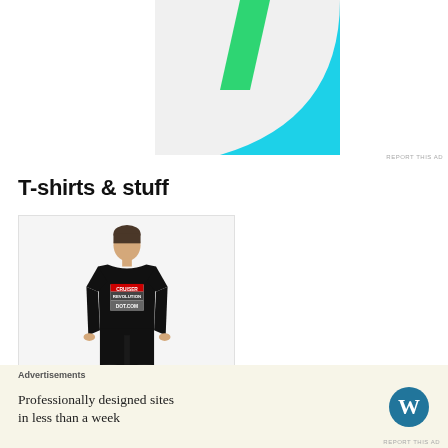[Figure (illustration): Partial abstract logo or app icon with green and cyan/blue shapes on light gray background, top portion visible]
REPORT THIS AD
T-shirts & stuff
[Figure (photo): Young man wearing a black t-shirt with 'CRUISER REVOLUTION DOT COM' printed on it, standing against a light gray background]
[Figure (illustration): WordPress.com advertisement: 'Professionally designed sites in less than a week' with WordPress logo on cream/yellow background]
REPORT THIS AD